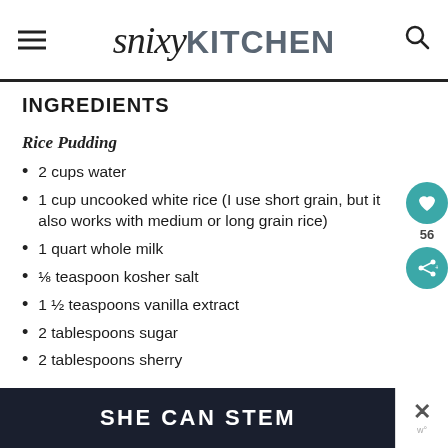snixyKITCHEN
INGREDIENTS
Rice Pudding
2 cups water
1 cup uncooked white rice (I use short grain, but it also works with medium or long grain rice)
1 quart whole milk
⅛ teaspoon kosher salt
1 ½ teaspoons vanilla extract
2 tablespoons sugar
2 tablespoons sherry
[Figure (other): SHE CAN STEM promotional banner at the bottom of the page]